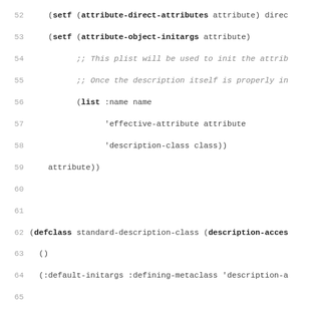[Figure (screenshot): Source code listing in Lisp/Common Lisp, showing lines 52-83 with syntax highlighting. Keywords in bold, function names in red, comments in italic gray.]